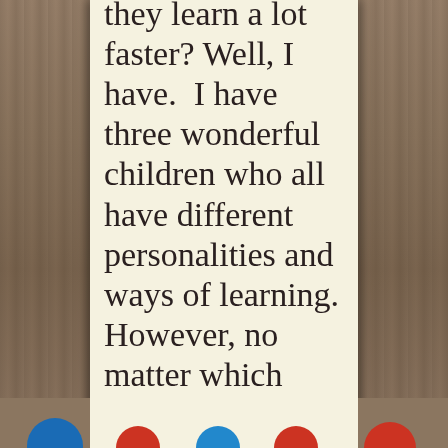they learn a lot faster? Well, I have. I have three wonderful children who all have different personalities and ways of learning. However, no matter which way they seem to learn best, hands-on learning is a fit for each
[Figure (illustration): Wooden plank background on left and right sides of page, with cream/off-white content panel in center. Partially visible colorful circles (learning-themed icons) at bottom edge.]